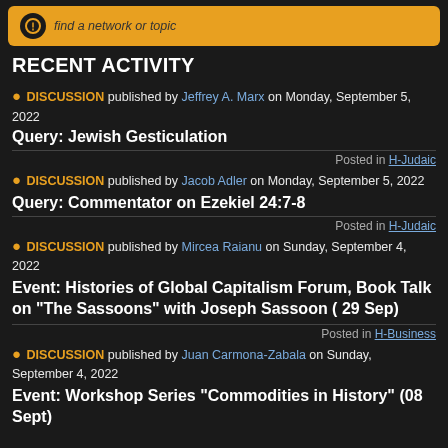[Figure (other): Orange search/navigation bar with circular icon and italic text 'find a network or topic']
RECENT ACTIVITY
💬 DISCUSSION published by Jeffrey A. Marx on Monday, September 5, 2022
Query: Jewish Gesticulation
Posted in H-Judaic
💬 DISCUSSION published by Jacob Adler on Monday, September 5, 2022
Query: Commentator on Ezekiel 24:7-8
Posted in H-Judaic
💬 DISCUSSION published by Mircea Raianu on Sunday, September 4, 2022
Event: Histories of Global Capitalism Forum, Book Talk on "The Sassoons" with Joseph Sassoon ( 29 Sep)
Posted in H-Business
💬 DISCUSSION published by Juan Carmona-Zabala on Sunday, September 4, 2022
Event: Workshop Series "Commodities in History" (08 Sept)